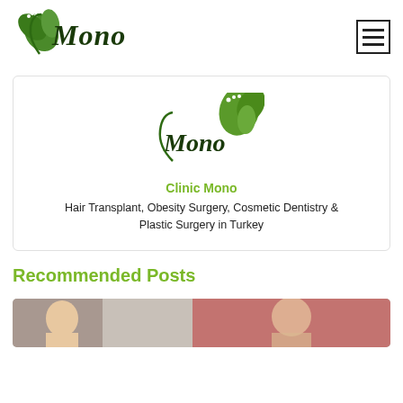[Figure (logo): Clinic Mono logo with green leaf decoration and cursive Mono text]
[Figure (other): Hamburger menu icon (three horizontal lines in bordered box)]
[Figure (logo): Clinic Mono logo with green leaf in top-right corner, inside card]
Clinic Mono
Hair Transplant, Obesity Surgery, Cosmetic Dentistry & Plastic Surgery in Turkey
Recommended Posts
[Figure (photo): Partial photo strip showing faces, cropped at bottom of page]